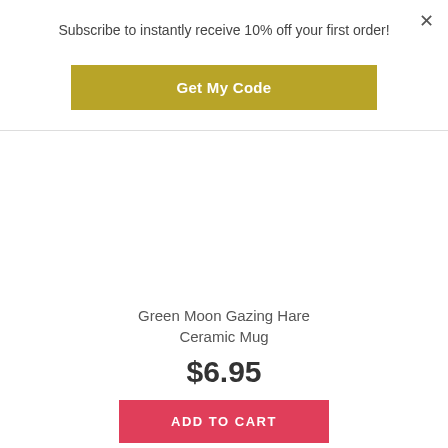×
Subscribe to instantly receive 10% off your first order!
Get My Code
[Figure (other): White blank product image area for Green Moon Gazing Hare Ceramic Mug]
Green Moon Gazing Hare Ceramic Mug
$6.95
ADD TO CART